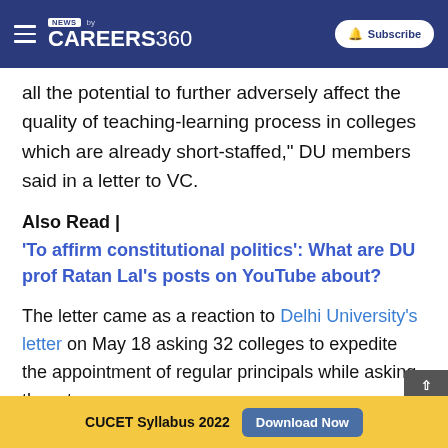NEWS by CAREERS360 | Subscribe
all the potential to further adversely affect the quality of teaching-learning process in colleges which are already short-staffed,” DU members said in a letter to VC.
Also Read |
‘To affirm constitutional politics’: What are DU prof Ratan Lal’s posts on YouTube about?
The letter came as a reaction to Delhi University’s letter on May 18 asking 32 colleges to expedite the appointment of regular principals while asking them to
CUCET Syllabus 2022  Download Now